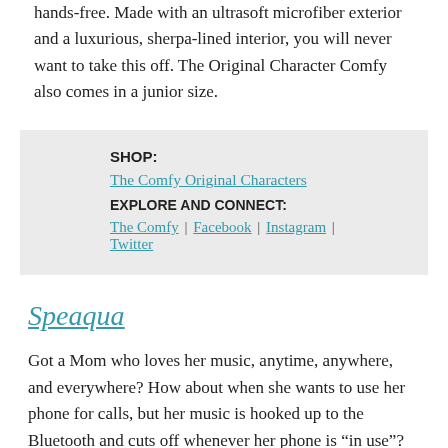hands-free. Made with an ultrasoft microfiber exterior and a luxurious, sherpa-lined interior, you will never want to take this off. The Original Character Comfy also comes in a junior size.
SHOP:
The Comfy Original Characters
EXPLORE AND CONNECT:
The Comfy | Facebook | Instagram | Twitter
Speaqua
Got a Mom who loves her music, anytime, anywhere, and everywhere? How about when she wants to use her phone for calls, but her music is hooked up to the Bluetooth and cuts off whenever her phone is "in use"? Well, no more, because this Mother's Day you can gift her The Barnacle